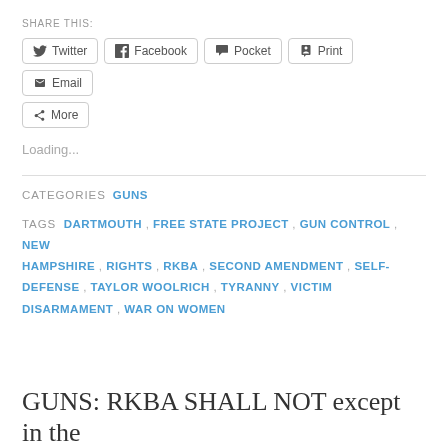SHARE THIS:
Twitter  Facebook  Pocket  Print  Email  More
Loading...
CATEGORIES  GUNS
TAGS  DARTMOUTH , FREE STATE PROJECT , GUN CONTROL , NEW HAMPSHIRE , RIGHTS , RKBA , SECOND AMENDMENT , SELF-DEFENSE , TAYLOR WOOLRICH , TYRANNY , VICTIM DISARMAMENT , WAR ON WOMEN
GUNS: RKBA SHALL NOT except in the